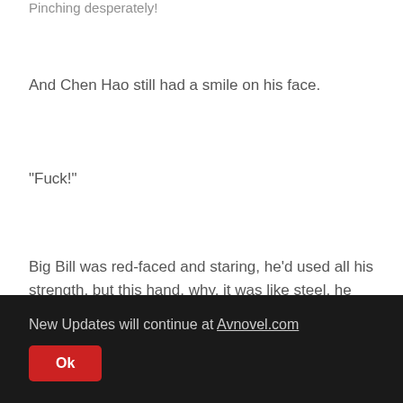Pinching desperately!
And Chen Hao still had a smile on his face.
"Fuck!"
Big Bill was red-faced and staring, he'd used all his strength, but this hand, why, it was like steel, he couldn't even grip it!
New Updates will continue at Avnovel.com
Ok